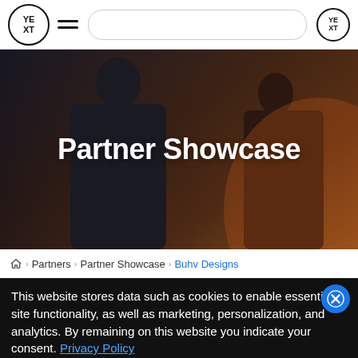[Figure (screenshot): Yext website navigation bar with logo, hamburger menu, search bar, and Yext logo icon on right]
[Figure (photo): Hero banner image showing two silhouetted people from behind with dark/warm-toned overlay, with 'Partner Showcase' text overlay]
Partner Showcase
Partners › Partner Showcase › Buhv Designs
This website stores data such as cookies to enable essential site functionality, as well as marketing, personalization, and analytics. By remaining on this website you indicate your consent. Privacy Policy